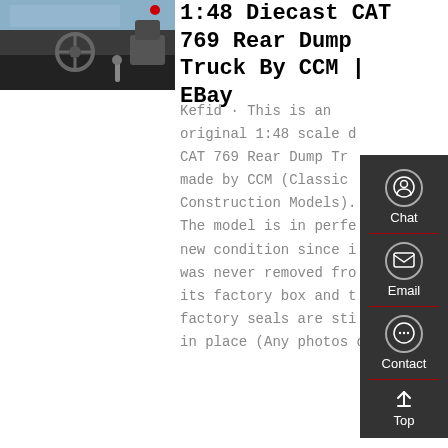[Figure (photo): Interior cab photo of a truck showing steering wheel, dashboard, and gear shift]
1:48 Diecast CAT 769 Rear Dump Truck By CCM | EBay
Kefid · This is an original 1:48 scale diecast CAT 769 Rear Dump Truck made by CCM (Classic Construction Models). The model is in perfect, new condition since it was never removed from its factory box and the factory seals are still in place (Any photos of